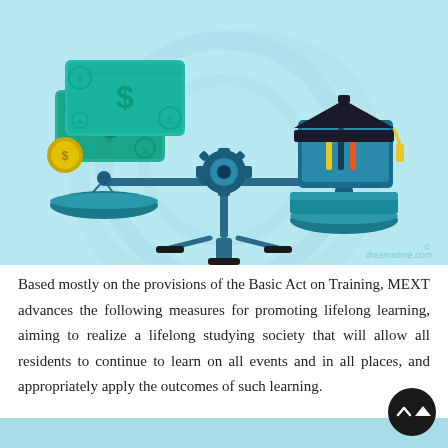[Figure (illustration): Illustration of a balance scale with money (dollar bills and coins) on the left pan and a graduation cap with books/computer on the right pan, set against a light blue background. The Dreamstime.com watermark is visible in the lower right of the image.]
Based mostly on the provisions of the Basic Act on Training, MEXT advances the following measures for promoting lifelong learning, aiming to realize a lifelong studying society that will allow all residents to continue to learn on all events and in all places, and appropriately apply the outcomes of such learning.